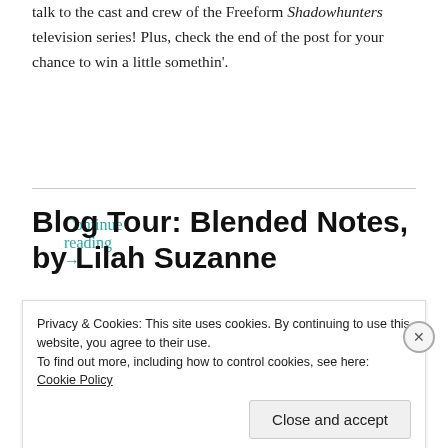talk to the cast and crew of the Freeform Shadowhunters television series! Plus, check the end of the post for your chance to win a little somethin'.
Continue reading →
Blog Tour: Blended Notes, by Lilah Suzanne
Privacy & Cookies: This site uses cookies. By continuing to use this website, you agree to their use.
To find out more, including how to control cookies, see here: Cookie Policy
Close and accept